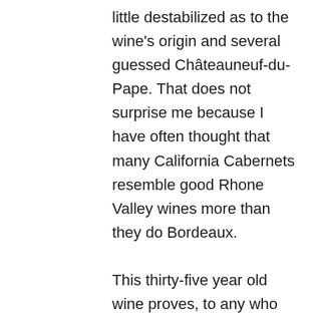little destabilized as to the wine's origin and several guessed Châteauneuf-du-Pape. That does not surprise me because I have often thought that many California Cabernets resemble good Rhone Valley wines more than they do Bordeaux. This thirty-five year old wine proves, to any who doubted, that California can indeed produce fine wines with good ageing potential. This 1981 certainly seemed much younger than its years. Martha's Vineyard is an iconic Napa Valley Cabernet produced since 1966. It